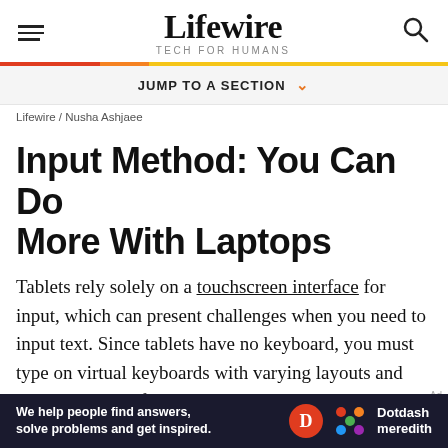Lifewire TECH FOR HUMANS
JUMP TO A SECTION
Lifewire / Nusha Ashjaee
Input Method: You Can Do More With Laptops
Tablets rely solely on a touchscreen interface for input, which can present challenges when you need to input text. Since tablets have no keyboard, you must type on virtual keyboards with varying layouts and designs. Some of the
We help people find answers, solve problems and get inspired. Dotdash meredith